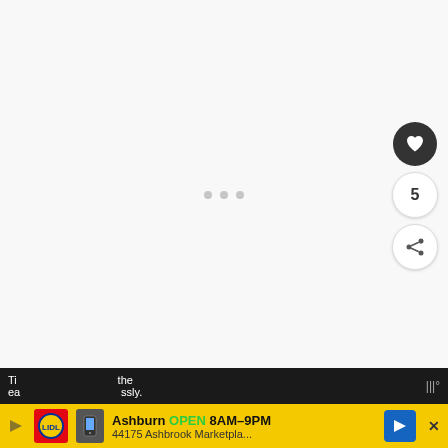[Figure (screenshot): Mostly blank white/light gray content area with three faint dots in the center, resembling a loading or empty state indicator. On the right side, three circular buttons are visible: a dark circle with a heart icon, a circle with the number 5, and a circle with a share icon.]
Thi... the ea... ssly.
[Figure (screenshot): Advertisement bar for Lidl store: Ashburn OPEN 8AM-9PM, 44175 Ashbrook Marketpla...]